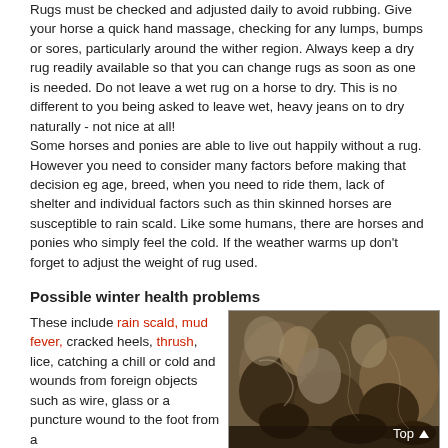Rugs must be checked and adjusted daily to avoid rubbing. Give your horse a quick hand massage, checking for any lumps, bumps or sores, particularly around the wither region.  Always keep a dry rug readily available so that you can change rugs as soon as one is needed.  Do not leave a wet rug on a horse to dry.  This is no different to you being asked to leave wet, heavy jeans on to dry naturally - not nice at all!
Some horses and ponies are able to live out happily without a rug.  However you need to consider many factors before making that decision eg age, breed, when you need to ride them, lack of shelter and individual factors such as thin skinned horses are susceptible to rain scald.  Like some humans, there are horses and ponies who simply feel the cold.  If the weather warms up don't forget to adjust the weight of rug used.
Possible winter health problems
These include rain scald, mud fever, cracked heels, thrush, lice, catching a chill or cold and wounds from foreign objects such as wire, glass or a puncture wound to the foot from a
[Figure (photo): Close-up photograph of horse legs covered in mud, showing muddy terrain with dark brown mud around the hooves and lower legs. A 'Top' label with an upward arrow appears in the bottom right corner.]